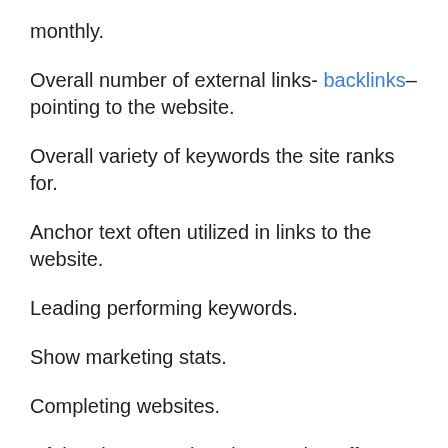monthly.
Overall number of external links- backlinks– pointing to the website.
Overall variety of keywords the site ranks for.
Anchor text often utilized in links to the website.
Leading performing keywords.
Show marketing stats.
Completing websites.
Of the above metrics, the one that offers you the quickest understanding of website